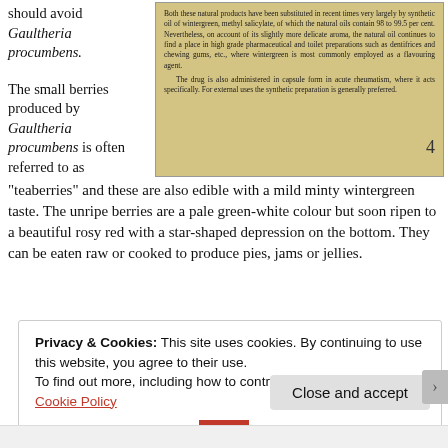should avoid Gaultheria procumbens.
[Figure (photo): Scanned book page excerpt about wintergreen oil and methyl salicylate, discussing natural vs synthetic oil and its pharmaceutical uses.]
The small berries produced by Gaultheria procumbens is often referred to as "teaberries" and these are also edible with a mild minty wintergreen taste. The unripe berries are a pale green-white colour but soon ripen to a beautiful rosy red with a star-shaped depression on the bottom. They can be eaten raw or cooked to produce pies, jams or jellies.
Privacy & Cookies: This site uses cookies. By continuing to use this website, you agree to their use.
To find out more, including how to control cookies, see here: Cookie Policy
Close and accept